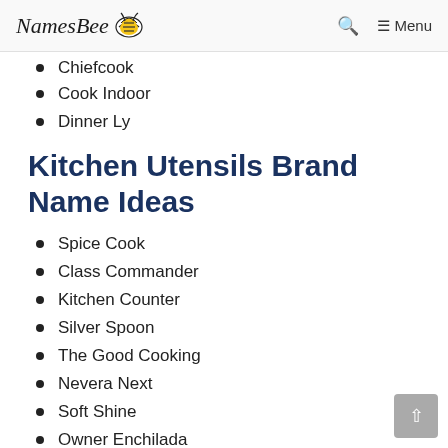NamesBee — Menu
Chiefcook
Cook Indoor
Dinner Ly
Kitchen Utensils Brand Name Ideas
Spice Cook
Class Commander
Kitchen Counter
Silver Spoon
The Good Cooking
Nevera Next
Soft Shine
Owner Enchilada